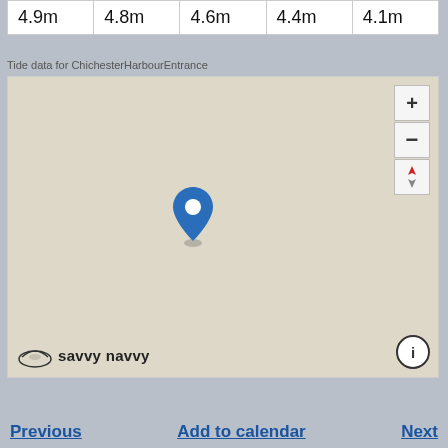| 4.9m | 4.8m | 4.6m | 4.4m | 4.1m |
Tide data for ChichesterHarbourEntrance
[Figure (map): Map showing a location pin (blue teardrop marker) on a beige/tan map background. Map controls (zoom in +, zoom out -, compass) are shown in the top right. The savvy navvy logo appears in the bottom left and an info button in the bottom right.]
Previous   Add to calendar   Next